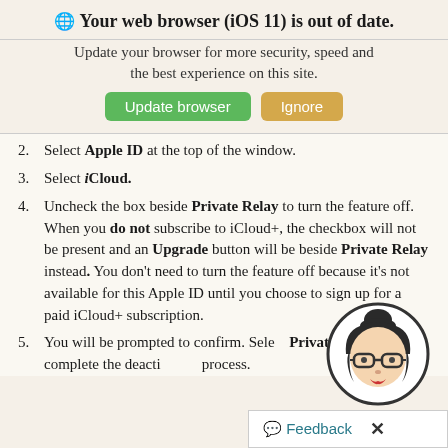🌐 Your web browser (iOS 11) is out of date.
Update your browser for more security, speed and the best experience on this site.
[Figure (infographic): Two buttons: 'Update browser' (green) and 'Ignore' (tan/gold)]
2. Select Apple ID at the top of the window.
3. Select iCloud.
4. Uncheck the box beside Private Relay to turn the feature off. When you do not subscribe to iCloud+, the checkbox will not be present and an Upgrade button will be beside Private Relay instead. You don't need to turn the feature off because it's not available for this Apple ID until you choose to sign up for a paid iCloud+ subscription.
5. You will be prompted to confirm. Select Private Relay to complete the deactivation process.
[Figure (illustration): Cartoon avatar of a woman with hair bun, glasses, red lips in a circle]
Feedback